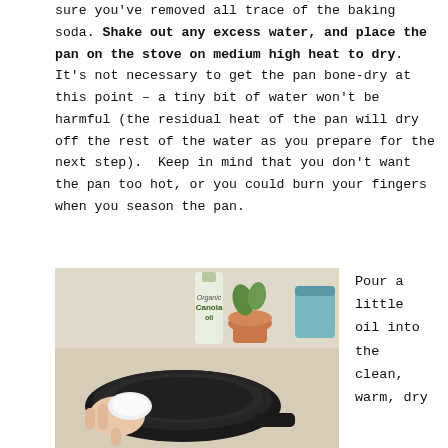sure you've removed all trace of the baking soda. Shake out any excess water, and place the pan on the stove on medium high heat to dry. It's not necessary to get the pan bone-dry at this point – a tiny bit of water won't be harmful (the residual heat of the pan will dry off the rest of the water as you prepare for the next step). Keep in mind that you don't want the pan too hot, or you could burn your fingers when you season the pan.
[Figure (photo): A hand using a cloth/paper towel to wipe the inside of a black cast iron pan. In the background, a bottle of Spectrum Organic Canola Oil, a potted plant, and a teal container are visible on a light wooden surface.]
Pour a little oil into the clean, warm, dry